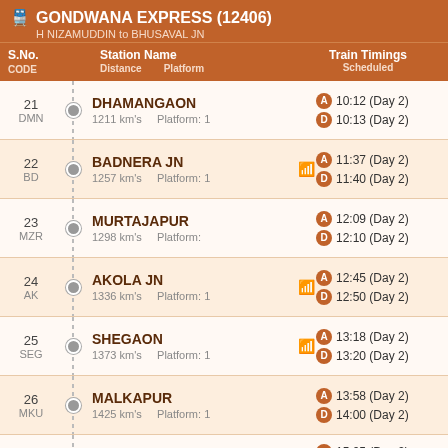GONDWANA EXPRESS (12406)
H NIZAMUDDIN to BHUSAVAL JN
| S.No. / CODE | Station Name / Distance / Platform | Train Timings Scheduled |
| --- | --- | --- |
| 21
DMN | DHAMANGAON
1211 km's    Platform: 1 | A 10:12 (Day 2)
D 10:13 (Day 2) |
| 22
BD | BADNERA JN
1257 km's    Platform: 1 | A 11:37 (Day 2)
D 11:40 (Day 2) |
| 23
MZR | MURTAJAPUR
1298 km's    Platform: | A 12:09 (Day 2)
D 12:10 (Day 2) |
| 24
AK | AKOLA JN
1336 km's    Platform: 1 | A 12:45 (Day 2)
D 12:50 (Day 2) |
| 25
SEG | SHEGAON
1373 km's    Platform: 1 | A 13:18 (Day 2)
D 13:20 (Day 2) |
| 26
MKU | MALKAPUR
1425 km's    Platform: 1 | A 13:58 (Day 2)
D 14:00 (Day 2) |
| 27 | BHUSAVAL JN | A 15:05 (Day 2) |